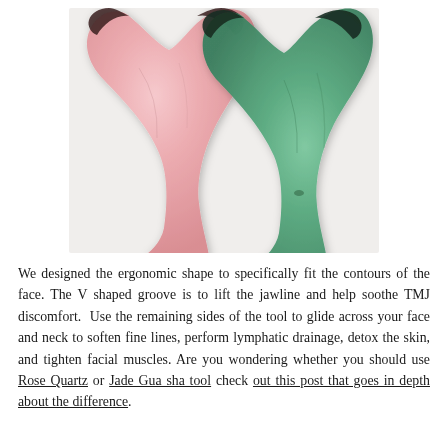[Figure (photo): Two gua sha tools side by side — a pink rose quartz and a green jade — both heart/wing-shaped with V-grooves, photographed on a white background.]
We designed the ergonomic shape to specifically fit the contours of the face. The V shaped groove is to lift the jawline and help soothe TMJ discomfort.  Use the remaining sides of the tool to glide across your face and neck to soften fine lines, perform lymphatic drainage, detox the skin, and tighten facial muscles. Are you wondering whether you should use Rose Quartz or Jade Gua sha tool check out this post that goes in depth about the difference.